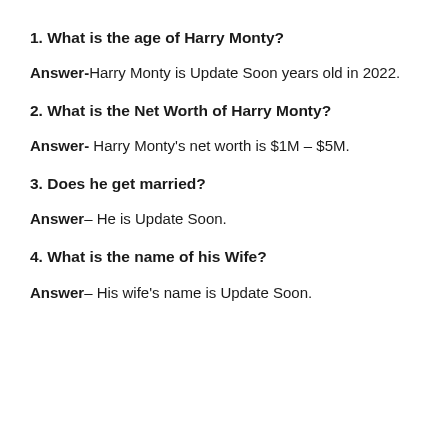1. What is the age of Harry Monty?
Answer- Harry Monty is Update Soon years old in 2022.
2. What is the Net Worth of Harry Monty?
Answer- Harry Monty's net worth is $1M – $5M.
3. Does he get married?
Answer– He is Update Soon.
4. What is the name of his Wife?
Answer– His wife's name is Update Soon.